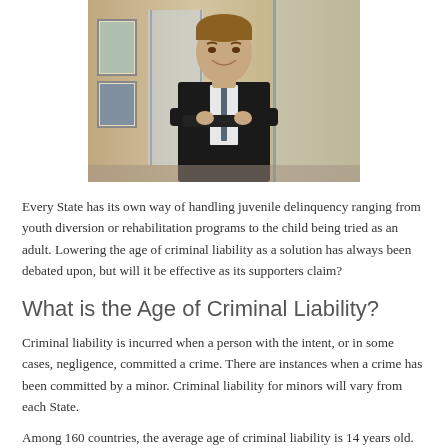[Figure (photo): A professional man in a dark suit with arms crossed, smiling, standing in an office/hallway environment with glass doors and framed art in the background.]
Every State has its own way of handling juvenile delinquency ranging from youth diversion or rehabilitation programs to the child being tried as an adult. Lowering the age of criminal liability as a solution has always been debated upon, but will it be effective as its supporters claim?
What is the Age of Criminal Liability?
Criminal liability is incurred when a person with the intent, or in some cases, negligence, committed a crime. There are instances when a crime has been committed by a minor. Criminal liability for minors will vary from each State.
Among 160 countries, the average age of criminal liability is 14 years old. 35 States in the US have no age of criminal liability, thus can be tried as an adult, although federal crimes are set within 11 years of